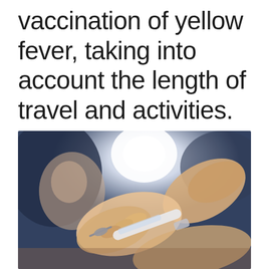Doctors advise the vaccination of yellow fever, taking into account the length of travel and activities.
[Figure (photo): Close-up photograph of hands holding a syringe/needle, with a blurred person in the background, depicting a vaccination scene.]